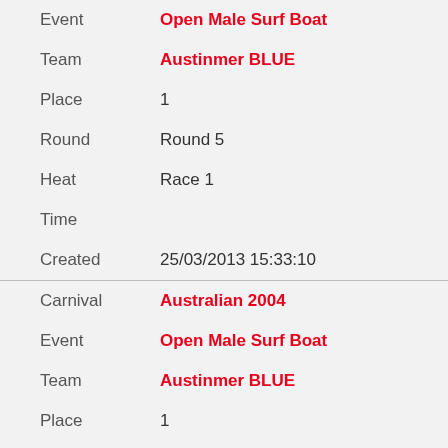| Field | Value |
| --- | --- |
| Event | Open Male Surf Boat |
| Team | Austinmer BLUE |
| Place | 1 |
| Round | Round 5 |
| Heat | Race 1 |
| Time |  |
| Created | 25/03/2013 15:33:10 |
| Field | Value |
| --- | --- |
| Carnival | Australian 2004 |
| Event | Open Male Surf Boat |
| Team | Austinmer BLUE |
| Place | 1 |
| Round | Round 4 |
| Heat | Race 1 |
| Time |  |